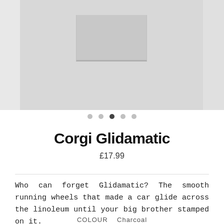[Figure (photo): Close-up of a light grey fabric item (likely a t-shirt) showing a chest pocket area, on a light grey background. Side panels visible on left and right edges.]
Corgi Glidamatic
£17.99
Who can forget Glidamatic? The smooth running wheels that made a car glide across the linoleum until your big brother stamped on it.
COLOUR   Charcoal